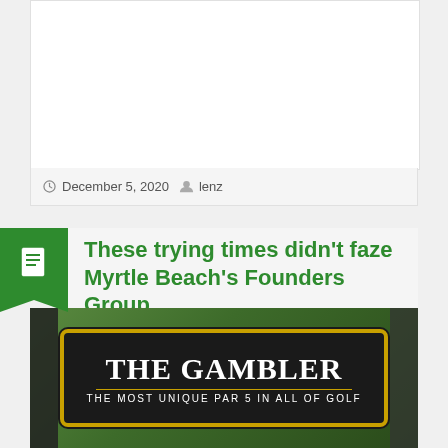[Figure (screenshot): White card area at top, appears to be a partially visible article image or blank content area]
December 5, 2020  lenz
These trying times didn't faze Myrtle Beach's Founders Group
[Figure (photo): Photo of a golf course sign reading 'THE GAMBLER – THE MOST UNIQUE PAR 5 IN ALL OF GOLF' on a dark background with gold border, surrounded by trees]